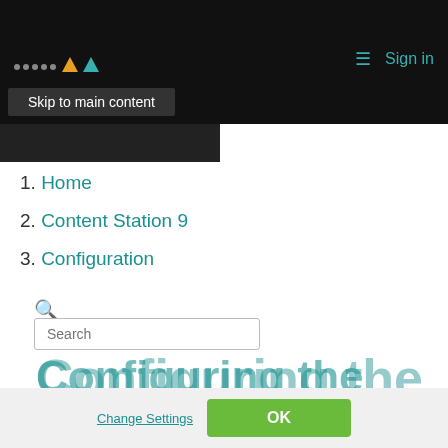Skip to main content | Sign in
1. Home
2. Content Station 9
3. Configuration
Search
Configuring the
We use cookies to remember login information, analyze site usage, tailor ads and provide a safe browsing experience. You can change your preferences. By navigating the site or clicking “OK” you agree to the use of cookies. WoodWing's Privacy Policy
Change Settings | OK